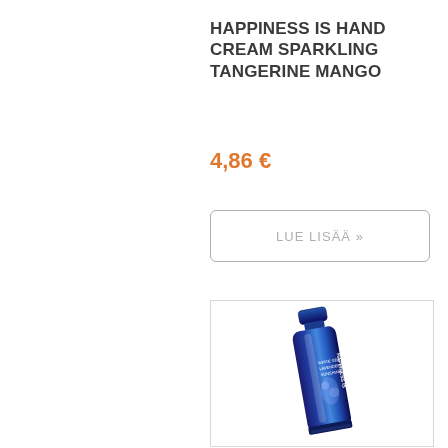HAPPINESS IS HAND CREAM SPARKLING TANGERINE MANGO
4,86 €
LUE LISÄÄ »
[Figure (photo): A tube of Happiness Is hand cream with blue packaging featuring lavender and White Sea Lavender Sunshine labeling, shown against a white background within a light grey bordered box.]